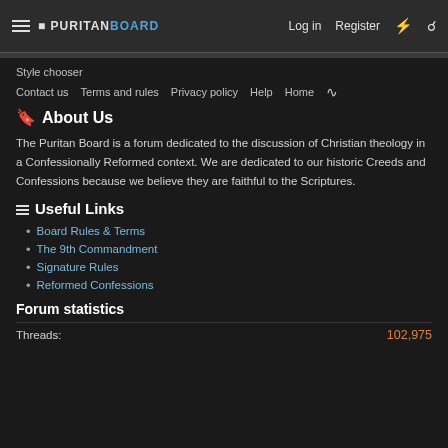Puritan Board — Log in | Register
Style chooser
Contact us  Terms and rules  Privacy policy  Help  Home
About Us
The Puritan Board is a forum dedicated to the discussion of Christian theology in a Confessionally Reformed context. We are dedicated to our historic Creeds and Confessions because we believe they are faithful to the Scriptures.
Useful Links
Board Rules & Terms
The 9th Commandment
Signature Rules
Reformed Confessions
Forum statistics
Threads:  102,975